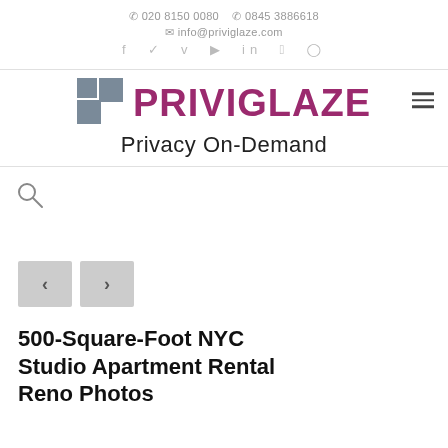📞 020 8150 0080  📞 0845 3886618
✉ info@priviglaze.com
f  𝕥  v  ▶  in  𝒑  📷
[Figure (logo): Priviglaze logo with geometric square icon and purple brand name text, hamburger menu icon on right]
Privacy On-Demand
[Figure (other): Search icon (magnifying glass)]
[Figure (other): Navigation previous/next arrow buttons (< and >)]
500-Square-Foot NYC Studio Apartment Rental Reno Photos